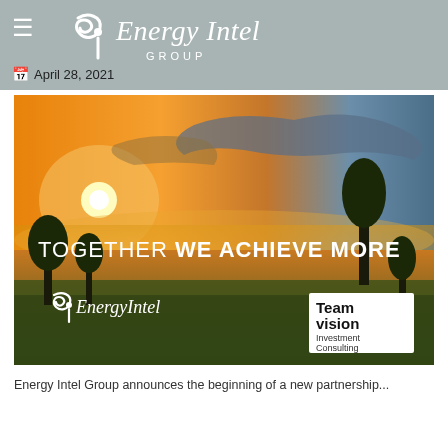Energy Intel Group — April 28, 2021
[Figure (photo): Sunset landscape with trees and foggy fields. Text overlay reads 'TOGETHER WE ACHIEVE MORE'. Bottom left shows EnergyIntel logo in white. Bottom right shows Teamvision Investment Consulting logo in a white box.]
Energy Intel Group announces the beginning of...